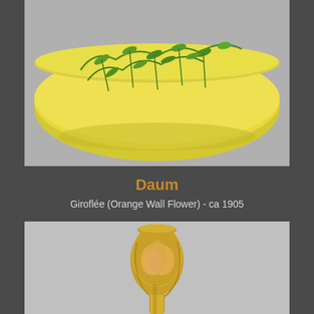[Figure (photo): Close-up photograph of a decorative Art Nouveau glass bowl with yellow background and green painted floral/vine motifs on a gray surface]
Daum
Giroflée (Orange Wall Flower) - ca 1905
[Figure (photo): Photograph of a tall slender Art Nouveau glass vase with yellow and amber tones, featuring organic sculptural form suggesting a flower bud or plant form, on a gray background]